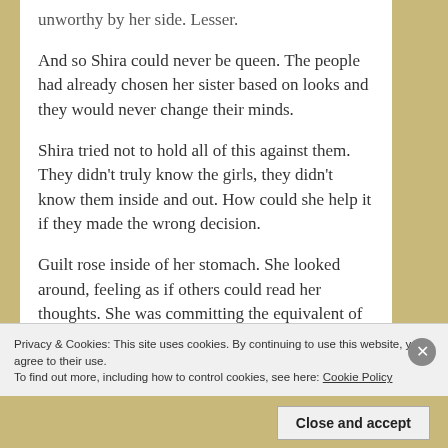unworthy by her side. Lesser.
And so Shira could never be queen. The people had already chosen her sister based on looks and they would never change their minds.
Shira tried not to hold all of this against them. They didn’t truly know the girls, they didn’t know them inside and out. How could she help it if they made the wrong decision.
Guilt rose inside of her stomach. She looked around, feeling as if others could read her thoughts. She was committing the equivalent of
Privacy & Cookies: This site uses cookies. By continuing to use this website, you agree to their use.
To find out more, including how to control cookies, see here: Cookie Policy